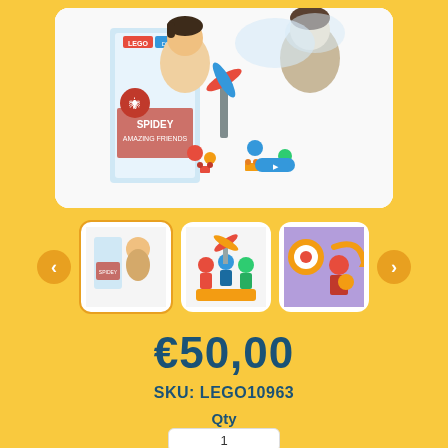[Figure (photo): LEGO DUPLO Spidey and His Amazing Friends product box with two children playing with the toy set on a white background]
[Figure (photo): Thumbnail 1: Product box showing a child with the LEGO DUPLO set (active/selected)]
[Figure (photo): Thumbnail 2: LEGO DUPLO Spidey set pieces displayed]
[Figure (photo): Thumbnail 3: LEGO DUPLO figures on purple background]
€50,00
SKU: LEGO10963
Qty
1